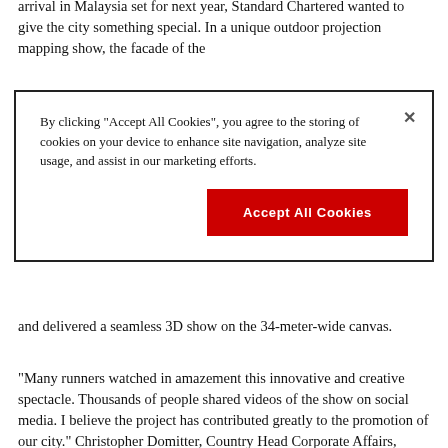arrival in Malaysia set for next year, Standard Chartered wanted to give the city something special. In a unique outdoor projection mapping show, the facade of the
By clicking "Accept All Cookies", you agree to the storing of cookies on your device to enhance site navigation, analyze site usage, and assist in our marketing efforts.
Accept All Cookies
and delivered a seamless 3D show on the 34-meter-wide canvas.
“Many runners watched in amazement this innovative and creative spectacle. Thousands of people shared videos of the show on social media. I believe the project has contributed greatly to the promotion of our city.” Christopher Domitter, Country Head Corporate Affairs, Standard Chartered – Malaysia